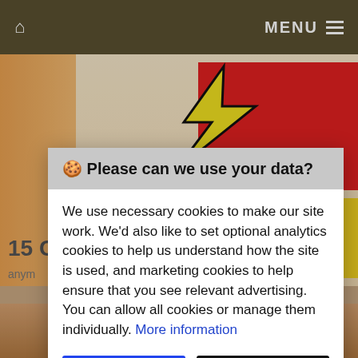MENU
[Figure (illustration): Comic-style illustration with a yellow lightning bolt and red rectangle on a warm background, partially visible behind a cookie consent modal dialog.]
🍪 Please can we use your data?
We use necessary cookies to make our site work. We'd also like to set optional analytics cookies to help us understand how the site is used, and marketing cookies to help ensure that you see relevant advertising. You can allow all cookies or manage them individually. More information
Accept Cookies
Customise Cookies